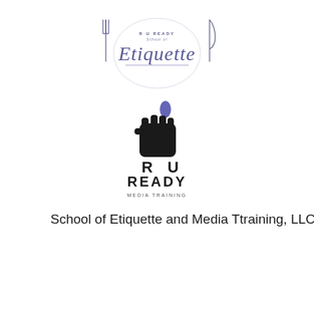[Figure (logo): R U Ready School of Etiquette cursive logo with fork and knife motifs on either side, dark blue/purple color]
[Figure (logo): R U Ready Media Training logo with a raised fist holding a microphone, black and white, bold block letters reading R U READY with MEDIA TRAINING below]
School of Etiquette and Media Ttraining, LLC
[Figure (other): Hamburger menu icon with three horizontal lines]